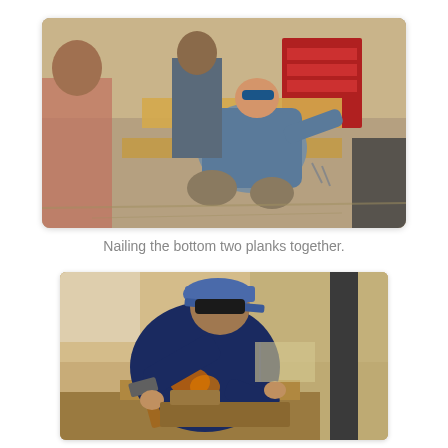[Figure (photo): Workshop scene showing a person kneeling on the floor nailing two wooden planks together. Several other people visible in background in a woodworking workshop with tool chests.]
Nailing the bottom two planks together.
[Figure (photo): Close-up of a person wearing a blue cap and dark t-shirt hammering a nail into a wooden block in a woodworking workshop setting.]